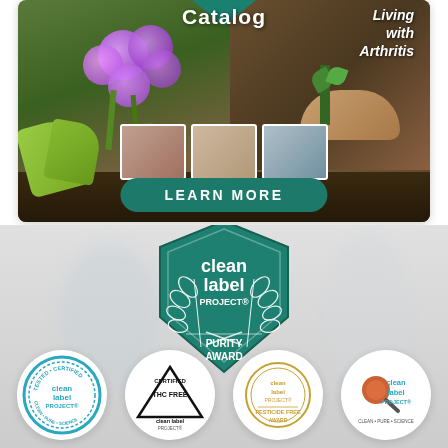[Figure (illustration): Top banner ad showing gardening hands with purple flowers on left, living with arthritis book cover on right, with 'Catalog' text at top center, 'Living with Arthritis' italic text top right, small photo thumbnails in center bottom, and a teal 'LEARN MORE' button]
Catalog
Living with Arthritis
LEARN MORE
[Figure (logo): Clean Label Project Purity Award badge - teal pentagon/shield shape with laurel wreath and text 'clean label PROJECT® PURITY AWARD']
[Figure (logo): Four circular certification logos: Clean Label Project Tested & Certified (Clean Pure Science), Certified THC Free Clean Label Project, Clean Label Project Pesticide Free Award, Clean Label Project Clean Pure Science]